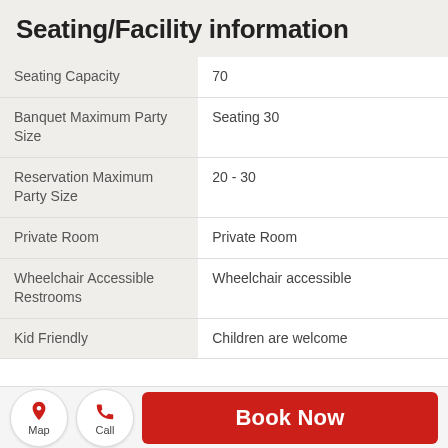Seating/Facility information
|  |  |
| --- | --- |
| Seating Capacity | 70 |
| Banquet Maximum Party Size | Seating 30 |
| Reservation Maximum Party Size | 20 - 30 |
| Private Room | Private Room |
| Wheelchair Accessible Restrooms | Wheelchair accessible |
| Kid Friendly | Children are welcome |
Map
Call
Book Now